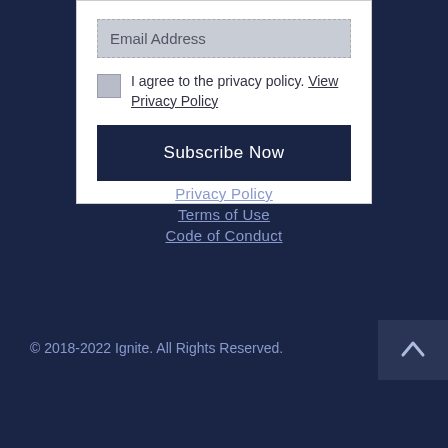Email Address
I agree to the privacy policy. View Privacy Policy
Subscribe Now
Privacy Policy
Terms of Use
Code of Conduct
© 2018-2022 Ignite. All Rights Reserved.